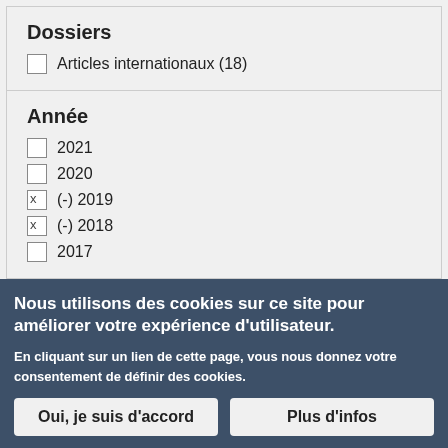Dossiers
☐ Articles internationaux (18)
Année
☐ 2021
☐ 2020
x (-) 2019
x (-) 2018
☐ 2017
Nous utilisons des cookies sur ce site pour améliorer votre expérience d'utilisateur.
En cliquant sur un lien de cette page, vous nous donnez votre consentement de définir des cookies.
Oui, je suis d'accord | Plus d'infos